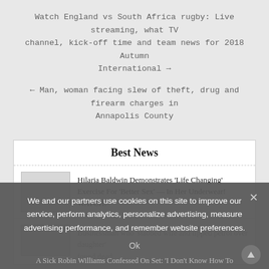Watch England vs South Africa rugby: Live streaming, what TV channel, kick-off time and team news for 2018 Autumn International →
← Man, woman facing slew of theft, drug and firearm charges in Annapolis County
Best News
Hilaria Baldwin Demonstrates 'Life Changing' Exercise For 'Better Sex' — In Her Underwear! WATCH!
Businessman who 'stabbed wife and tipped petrol over daughter' found dead
We and our partners use cookies on this site to improve our service, perform analytics, personalize advertising, measure advertising performance, and remember website preferences.
Ok
A Sick Robin Williams Confessed On Set: 'I Don't Know How To